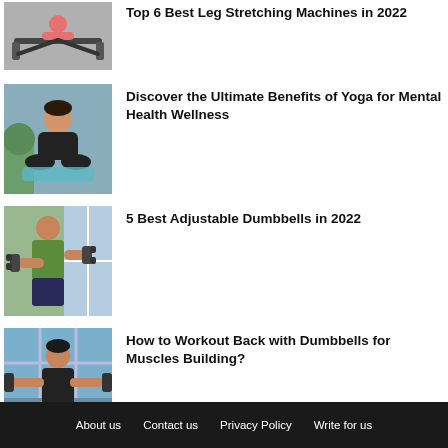[Figure (photo): Person doing leg splits on a leg stretching machine]
Top 6 Best Leg Stretching Machines in 2022
[Figure (photo): Woman doing yoga indoors on a blue mat]
Discover the Ultimate Benefits of Yoga for Mental Health Wellness
[Figure (photo): Man lifting dumbbells in gym]
5 Best Adjustable Dumbbells in 2022
[Figure (photo): Man doing back workout with dumbbells]
How to Workout Back with Dumbbells for Muscles Building?
About us   Contact us   Privacy Policy   Write for us